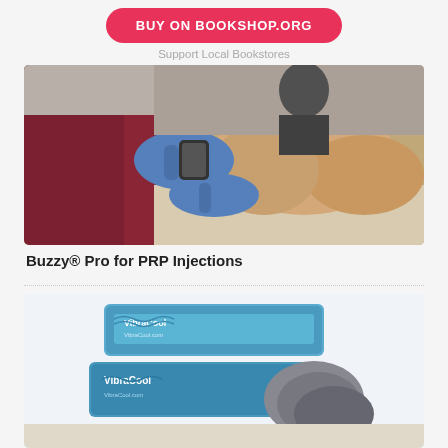[Figure (other): Pink/red rounded button reading 'BUY ON BOOKSHOP.ORG' with text below 'Support Local Bookstores']
Support Local Bookstores
[Figure (photo): Medical professional wearing blue gloves performing a procedure (likely PRP injection) on a patient's knee, using a Buzzy device. Person wearing dark red/maroon scrubs.]
Buzzy® Pro for PRP Injections
[Figure (photo): VibraCool branded blue gel ice packs/cold therapy products arranged together, showing VibraCool logo and VibraCool.com website on packaging]